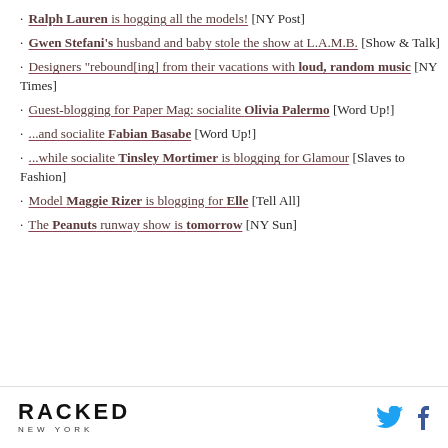· Ralph Lauren is hogging all the models! [NY Post]
· Gwen Stefani's husband and baby stole the show at L.A.M.B. [Show & Talk]
· Designers "rebound[ing] from their vacations with loud, random music [NY Times]
· Guest-blogging for Paper Mag: socialite Olivia Palermo [Word Up!]
· ...and socialite Fabian Basabe [Word Up!]
· ...while socialite Tinsley Mortimer is blogging for Glamour [Slaves to Fashion]
· Model Maggie Rizer is blogging for Elle [Tell All]
· The Peanuts runway show is tomorrow [NY Sun]
RACKED NEW YORK